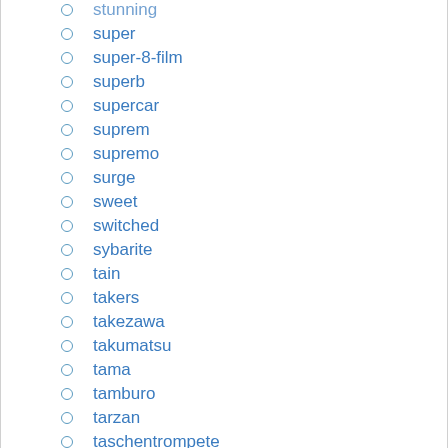stunning
super
super-8-film
superb
supercar
suprem
supremo
surge
sweet
switched
sybarite
tain
takers
takezawa
takumatsu
tama
tamburo
tarzan
taschentrompete
tavolo